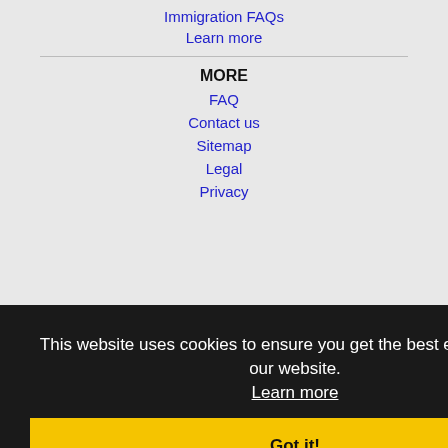Immigration FAQs
Learn more
MORE
FAQ
Contact us
Sitemap
Legal
Privacy
This website uses cookies to ensure you get the best experience on our website.
Learn more
Got it!
NEARBY CITIES
Mason, OH Jobs
Carmel, IN Jobs
Cincinnati, OH Jobs
Columbus, OH Jobs
Covington, KY Jobs
Fairfield, OH Jobs